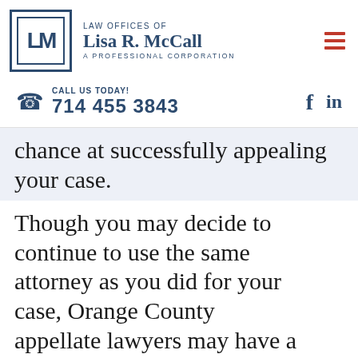[Figure (logo): Law Offices of Lisa R. McCall logo — dark blue square with LM monogram and firm name]
LAW OFFICES OF
Lisa R. McCall
A PROFESSIONAL CORPORATION
CALL US TODAY!
714 455 3843
chance at successfully appealing your case.
Though you may decide to continue to use the same attorney as you did for your case, Orange County appellate lawyers may have a new perspective on the situation, along with a better